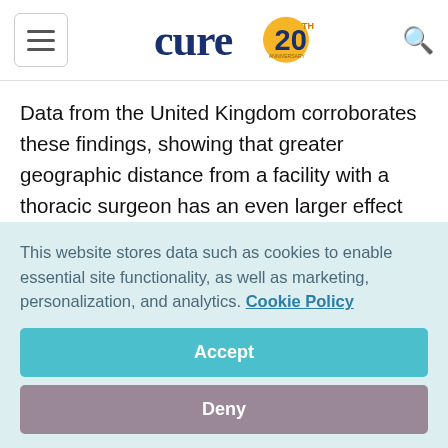cure 20th anniversary logo
Data from the United Kingdom corroborates these findings, showing that greater geographic distance from a facility with a thoracic surgeon has an even larger effect on patient survival than the patient's cancer stage at diagnosis.

Although there is inconclusive evidence that U.S.
This website stores data such as cookies to enable essential site functionality, as well as marketing, personalization, and analytics. Cookie Policy
Accept
Deny